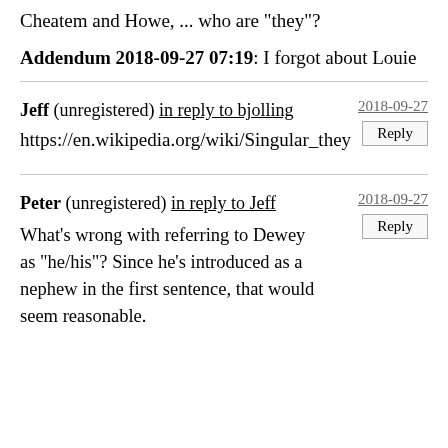Cheatem and Howe, ... who are "they"?
Addendum 2018-09-27 07:19: I forgot about Louie
Jeff (unregistered) in reply to bjolling    2018-09-27    Reply
https://en.wikipedia.org/wiki/Singular_they
Peter (unregistered) in reply to Jeff    2018-09-27    Reply    What's wrong with referring to Dewey as "he/his"? Since he's introduced as a nephew in the first sentence, that would seem reasonable.